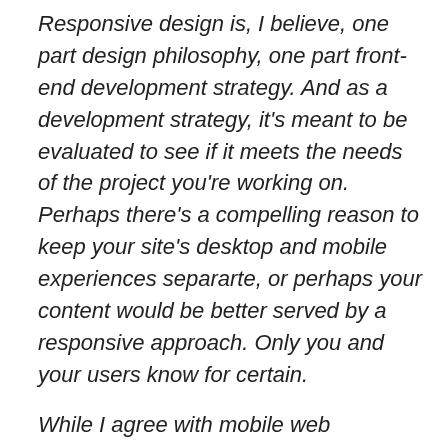Responsive design is, I believe, one part design philosophy, one part front-end development strategy. And as a development strategy, it's meant to be evaluated to see if it meets the needs of the project you're working on. Perhaps there's a compelling reason to keep your site's desktop and mobile experiences separarte, or perhaps your content would be better served by a responsive approach. Only you and your users know for certain.
While I agree with mobile web designers who say that certain users of certain sites deserved different content, I think the